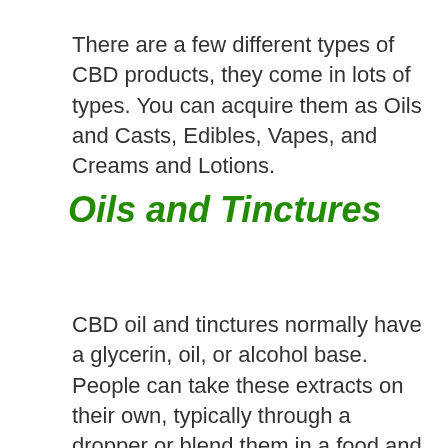There are a few different types of CBD products, they come in lots of types. You can acquire them as Oils and Casts, Edibles, Vapes, and Creams and Lotions.
Oils and Tinctures
CBD oil and tinctures normally have a glycerin, oil, or alcohol base. People can take these extracts on their own, typically through a dropper or blend them in a food and drink of their option. There are numerous strengths and tastes of CBD oils